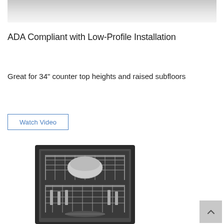[Figure (photo): Top portion of a product image visible at the top of the page, showing a light gray background]
ADA Compliant with Low-Profile Installation
Great for 34" counter top heights and raised subfloors
[Figure (other): Watch Video button with blue border and blue text]
[Figure (photo): Black and white photo of a dishwasher interior showing racks, dishes, and internal components from a front-facing open view]